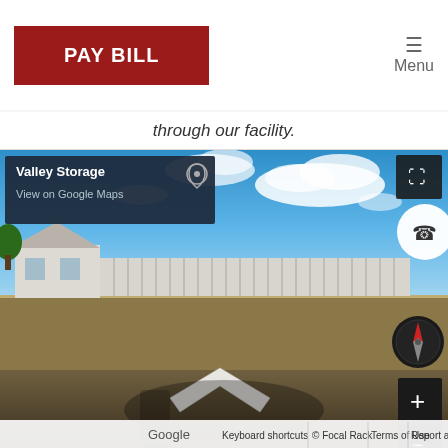[Figure (screenshot): PAY BILL button in dark red with white bold text]
Menu
through our facility.
[Figure (map): Google Street View of Valley Storage facility showing parking lot, buildings, blue sky with clouds, and road surface. Overlay includes Valley Storage label with View on Google Maps link, expand button, phone button, compass, zoom controls, and bottom bar with Keyboard shortcuts, © Focal Rack, Terms of Use, Report a problem.]